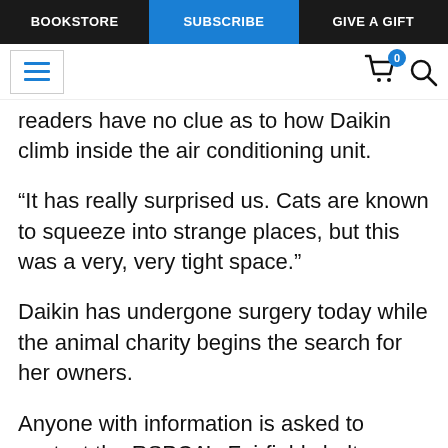BOOKSTORE | SUBSCRIBE | GIVE A GIFT
readers have no clue as to how Daikin was able to climb inside the air conditioning unit.
“It has really surprised us. Cats are known to squeeze into strange places, but this was a very, very tight space.”
Daikin has undergone surgery today while the animal charity begins the search for her owners.
Anyone with information is asked to contact the RSPCA’s Fairfield shelter on 3426 9989.